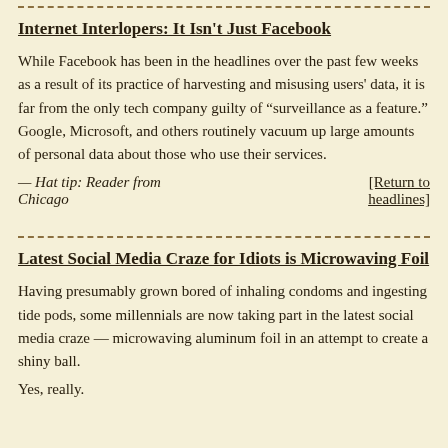Internet Interlopers: It Isn't Just Facebook
While Facebook has been in the headlines over the past few weeks as a result of its practice of harvesting and misusing users' data, it is far from the only tech company guilty of “surveillance as a feature.” Google, Microsoft, and others routinely vacuum up large amounts of personal data about those who use their services.
— Hat tip: Reader from Chicago
[Return to headlines]
Latest Social Media Craze for Idiots is Microwaving Foil
Having presumably grown bored of inhaling condoms and ingesting tide pods, some millennials are now taking part in the latest social media craze — microwaving aluminum foil in an attempt to create a shiny ball.
Yes, really.